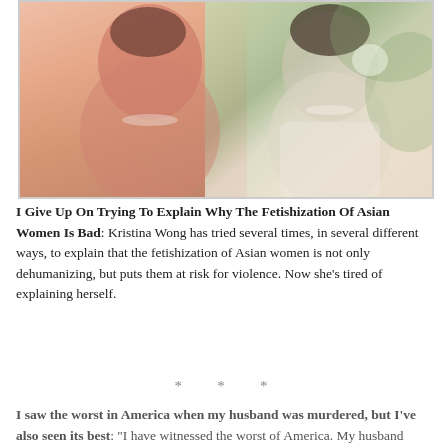[Figure (photo): Two photos of an Asian woman in formal/bridal attire with pearl necklace and elaborate makeup, one larger in the background and one smaller in the foreground right]
I Give Up On Trying To Explain Why The Fetishization Of Asian Women Is Bad: Kristina Wong has tried several times, in several different ways, to explain that the fetishization of Asian women is not only dehumanizing, but puts them at risk for violence. Now she's tired of explaining herself.
* * *
I saw the worst in America when my husband was murdered, but I've also seen its best: "I have witnessed the worst of America. My husband Srinu was murdered last